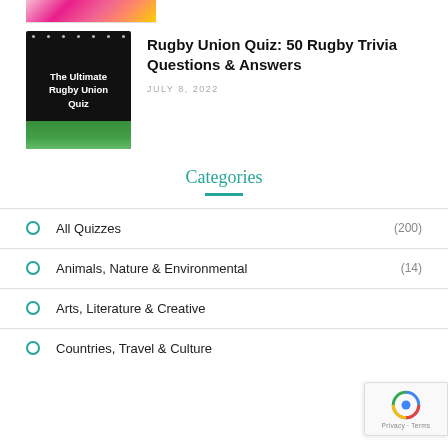[Figure (photo): Partial top strip showing a floral/decorative image cropped at top]
[Figure (photo): Thumbnail image for 'The Ultimate Rugby Union Quiz' showing a stadium with green field and lights on dark background]
Rugby Union Quiz: 50 Rugby Trivia Questions & Answers
JULY 8, 2022
Categories
All Quizzes (200)
Animals, Nature & Environmental (14)
Arts, Literature & Creative
Countries, Travel & Culture